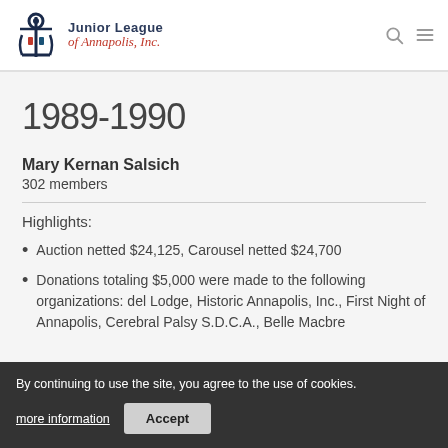Junior League of Annapolis, Inc.
1989-1990
Mary Kernan Salsich
302 members
Highlights:
Auction netted $24,125, Carousel netted $24,700
Donations totaling $5,000 were made to the following organizations: del Lodge, Historic Annapolis, Inc., First Night of Annapolis, Cerebral Palsy S.D.C.A., Belle Macbre
By continuing to use the site, you agree to the use of cookies. more information  Accept